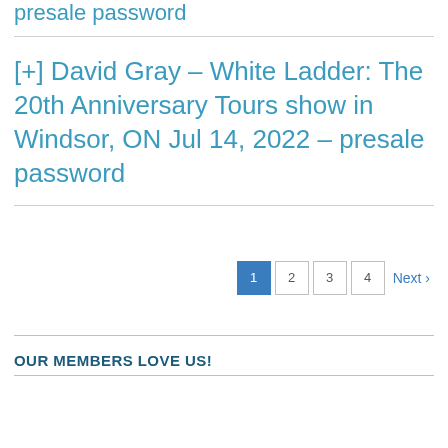presale password
[+] David Gray – White Ladder: The 20th Anniversary Tours show in Windsor, ON Jul 14, 2022 – presale password
Pagination: 1 2 3 4 Next
OUR MEMBERS LOVE US!